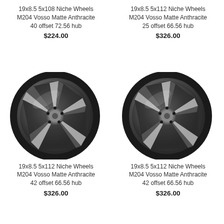19x8.5 5x108 Niche Wheels M204 Vosso Matte Anthracite 40 offset 72.56 hub
$224.00
19x8.5 5x112 Niche Wheels M204 Vosso Matte Anthracite 25 offset 66.56 hub
$326.00
[Figure (photo): Niche Wheels M204 Vosso Matte Anthracite wheel, left bottom product]
19x8.5 5x112 Niche Wheels M204 Vosso Matte Anthracite 42 offset 66.56 hub
$326.00
[Figure (photo): Niche Wheels M204 Vosso Matte Anthracite wheel, right bottom product]
19x8.5 5x112 Niche Wheels M204 Vosso Matte Anthracite 42 offset 66.56 hub
$326.00